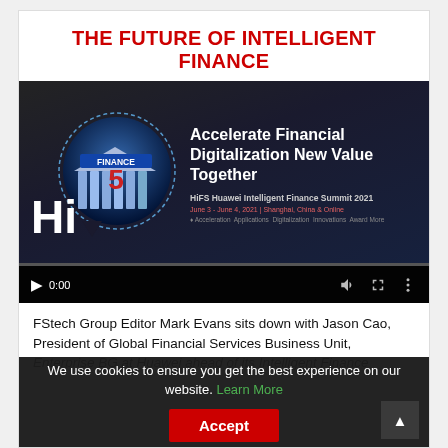THE FUTURE OF INTELLIGENT FINANCE
[Figure (screenshot): Embedded video player showing Huawei Intelligent Finance Summit 2021 promotional content. The video thumbnail shows a stylized bank building inside a speech bubble with 'FINANCE' text and the number '5', alongside the text 'Accelerate Financial Digitalization New Value Together', 'HiFS Huawei Intelligent Finance Summit 2021', 'June 3 - June 4, 2021 | Shanghai, China & Online'. Video controls show 0:00 timestamp with play, volume, fullscreen, and more options buttons.]
FStech Group Editor Mark Evans sits down with Jason Cao, President of Global Financial Services Business Unit, Enterprise BG at Huawei ahead of its Intelligent Finance...
We use cookies to ensure you get the best experience on our website. Learn More  Accept